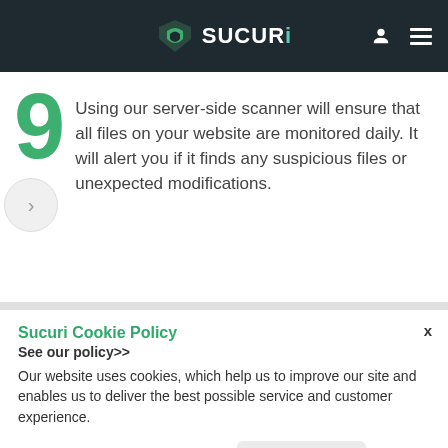SUCURi
Using our server-side scanner will ensure that all files on your website are monitored daily. It will alert you if it finds any suspicious files or unexpected modifications.
Sucuri Cookie Policy
See our policy>>
Our website uses cookies, which help us to improve our site and enables us to deliver the best possible service and customer experience.
Accept  Decline  Manage Options